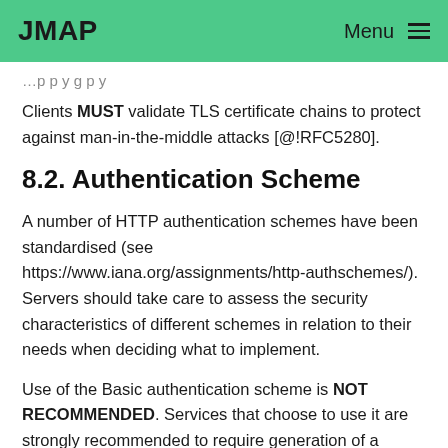JMAP   Menu
Clients MUST validate TLS certificate chains to protect against man-in-the-middle attacks [@!RFC5280].
8.2. Authentication Scheme
A number of HTTP authentication schemes have been standardised (see https://www.iana.org/assignments/http-authschemes/). Servers should take care to assess the security characteristics of different schemes in relation to their needs when deciding what to implement.
Use of the Basic authentication scheme is NOT RECOMMENDED. Services that choose to use it are strongly recommended to require generation of a unique “app password” via some external mechanism for each client they wish to connect. This allows connections